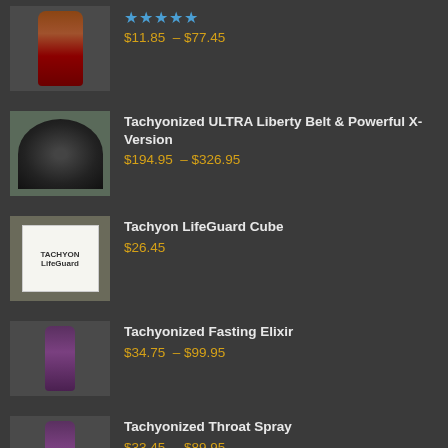Tachyonized Water — ★★★★★ — $11.85 – $77.45
Tachyonized ULTRA Liberty Belt & Powerful X-Version — $194.95 – $326.95
Tachyon LifeGuard Cube — $26.45
Tachyonized Fasting Elixir — $34.75 – $99.95
Tachyonized Throat Spray — $33.45 – $89.95
Sign up for the Quantum Vitality Newsletter
First Name: